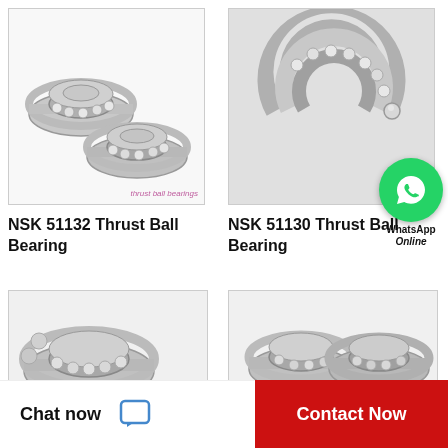[Figure (photo): NSK 51132 Thrust Ball Bearing product photo showing multiple bearing rings with ball bearings]
thrust ball bearings
NSK 51132 Thrust Ball Bearing
[Figure (photo): NSK 51130 Thrust Ball Bearing product photo showing a single thrust ball bearing assembly with WhatsApp Online badge overlay]
thrust ball bearings
NSK 51130 Thrust Ball Bearing
[Figure (photo): Partial view of another NSK thrust ball bearing product]
[Figure (photo): Partial view of another NSK thrust ball bearing set showing two bearings side by side]
Chat now
Contact Now